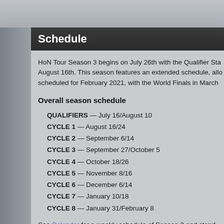Schedule
HoN Tour Season 3 begins on July 26th with the Qualifier Sta... August 16th. This season features an extended schedule, allo... scheduled for February 2021, with the World Finals in March...
Overall season schedule
QUALIFIERS — July 16/August 10
CYCLE 1 — August 16/24
CYCLE 2 — September 6/14
CYCLE 3 — September 27/October 5
CYCLE 4 — October 18/26
CYCLE 5 — November 8/16
CYCLE 6 — December 6/14
CYCLE 7 — January 10/18
CYCLE 8 — January 31/February 8
See Calendar for a weekly schedule of Season 3 and stand alon...
Division schedule breakdown
A cycle lasts 9 days and all matches are played during the weeke... CEST.